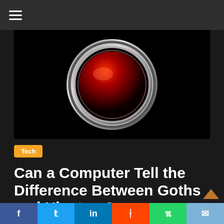☰
[Figure (photo): Close-up of a red glowing circular lens or camera eye (reminiscent of HAL 9000) with a metallic chrome ring, on a black background]
Tech
Can a Computer Tell the Difference Between Goths and Hipsters?
December 23, 2013  Alan Cross  0 Comments
Algorithm, Computer, Goth, Hipster, Tribes